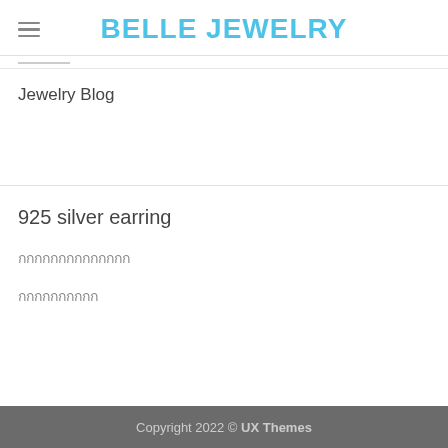BELLE JEWELRY
Jewelry Blog
925 silver earring
กกกกกกกกกกกกกก
กกกกกกกกกก
Copyright 2022 © UX Themes